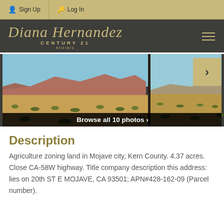Sign Up  Log In
[Figure (logo): Diana Hernandez Century 21 Allstars logo in script font on dark background]
[Figure (photo): Desert landscape in Mojave showing scrubland, mountains in background under blue sky. Browse all 10 photos navigation.]
Description
Agriculture zoning land in Mojave city, Kern County. 4.37 acres. Close CA-58W highway. Title company description this address: lies on 20th ST E MOJAVE, CA 93501; APN#428-162-09 (Parcel number).